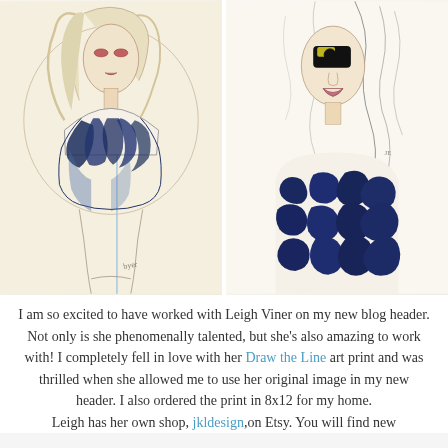[Figure (illustration): Two fashion illustrations side by side. Left: a woman with light hair wearing a blue-feathered or ruffled navy top/dress, sketch style with watercolor. Right: a woman with a bold black and yellow eye, wearing a navy blue abstract patterned dress/top, sketch and ink style.]
I am so excited to have worked with Leigh Viner on my new blog header. Not only is she phenomenally talented, but she's also amazing to work with! I completely fell in love with her Draw the Line art print and was thrilled when she allowed me to use her original image in my new header. I also ordered the print in 8x12 for my home. Leigh has her own shop, jkldesign, on Etsy. You will find new